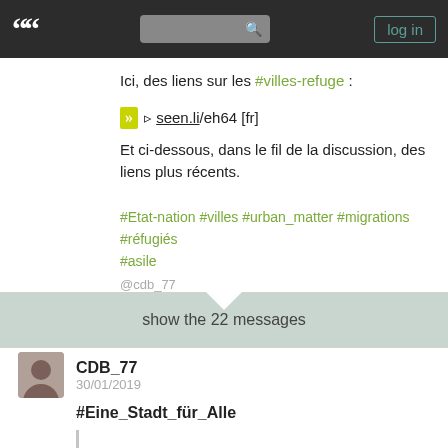[Figure (screenshot): Navigation bar with quotation mark logo, search box, and log in button]
Ici, des liens sur les #villes-refuge :
» ▹ seen.li/eh64 [fr]
Et ci-dessous, dans le fil de la discussion, des liens plus récents.
#Etat-nation #villes #urban_matter #migrations #réfugiés #asile
@cdb_77
show the 22 messages
CDB_77   30/01/2019
#Eine_Stadt_für_Alle
Eine Stadt, aus der kein Mensch abgeschoben wird, in der sich alle frei und ohne Angst bewegen können, in der kein Mensch nach einer Aufenthaltserlaubnis gefragt wird, in der kein Mensch illegal ist. Das sind die grundlegenden Vorstellungen von einer Solidarity City. In einer solchen Stadt der Solidarität sollen alle Menschen das Recht haben zu leben, zu wohnen und zu arbeiten. Alle Menschen soll der Zugang zu Bildung und